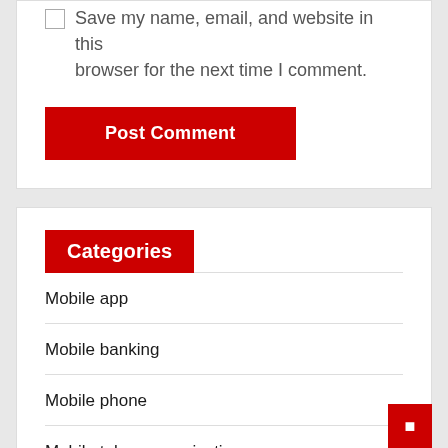Save my name, email, and website in this browser for the next time I comment.
Post Comment
Categories
Mobile app
Mobile banking
Mobile phone
Mobile telecommunications